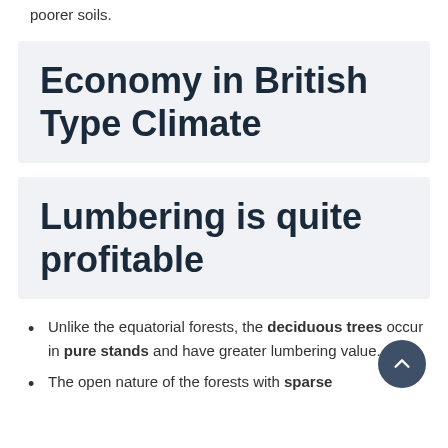poorer soils.
Economy in British Type Climate
Lumbering is quite profitable
Unlike the equatorial forests, the deciduous trees occur in pure stands and have greater lumbering value.
The open nature of the forests with sparse